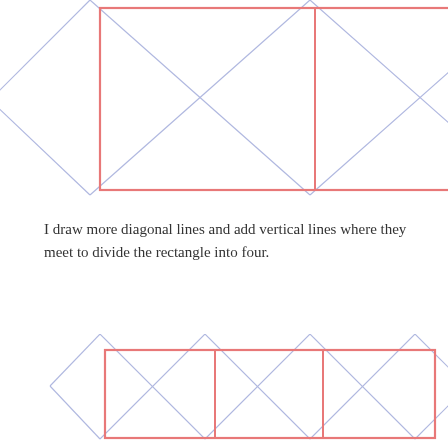[Figure (illustration): A rectangle divided into four equal sections by a vertical line in the middle and horizontal borders. Each section has diagonal cross lines (X pattern) drawn in light blue/lavender. The outer border is salmon/coral pink. The diagonals extend slightly beyond the rectangle corners.]
I draw more diagonal lines and add vertical lines where they meet to divide the rectangle into four.
[Figure (illustration): A wide rectangle divided into four equal sections by three vertical lines. Each section has diagonal cross lines (X pattern) drawn in light blue/lavender. The outer border is salmon/coral pink. The diagonals extend slightly beyond the rectangle corners at top.]